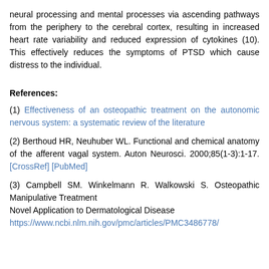neural processing and mental processes via ascending pathways from the periphery to the cerebral cortex, resulting in increased heart rate variability and reduced expression of cytokines (10). This effectively reduces the symptoms of PTSD which cause distress to the individual.
References:
(1) Effectiveness of an osteopathic treatment on the autonomic nervous system: a systematic review of the literature
(2) Berthoud HR, Neuhuber WL. Functional and chemical anatomy of the afferent vagal system. Auton Neurosci. 2000;85(1-3):1-17. [CrossRef] [PubMed]
(3) Campbell SM. Winkelmann R. Walkowski S. Osteopathic Manipulative Treatment Novel Application to Dermatological Disease https://www.ncbi.nlm.nih.gov/pmc/articles/PMC3486778/